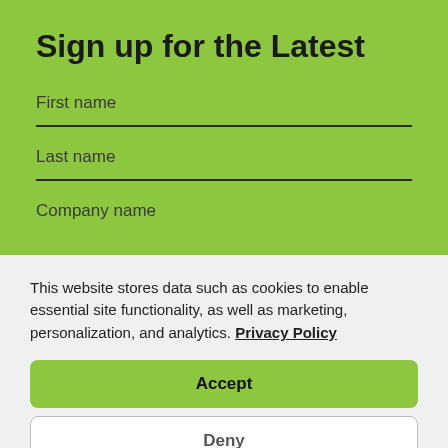Sign up for the Latest
First name
Last name
Company name
This website stores data such as cookies to enable essential site functionality, as well as marketing, personalization, and analytics. Privacy Policy
Accept
Deny